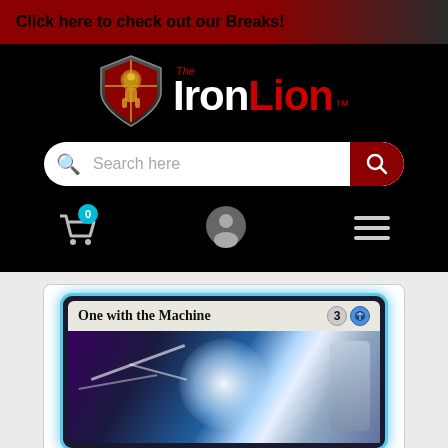Click here to check out our Breaks!
[Figure (logo): The Iron Lion logo with shield emblem and brand name in white and red on black background]
[Figure (screenshot): Search bar with magnifying glass icon and red search button]
[Figure (screenshot): Navigation icons: shopping cart with badge showing 0, user profile icon, hamburger menu]
[Figure (screenshot): Magic: The Gathering card 'One with the Machine' with mana cost 3U, showing blue-themed artwork of a figure merging with a machine]